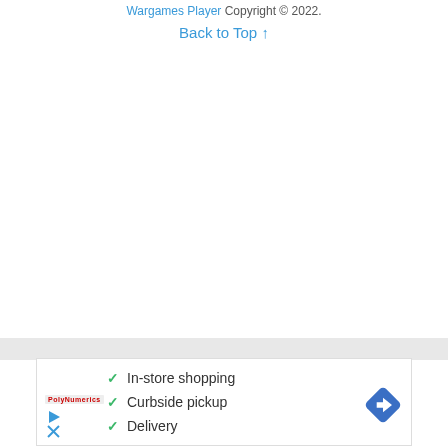Wargames Player Copyright © 2022.
Back to Top ↑
[Figure (infographic): Advertisement banner showing checkmarks for In-store shopping, Curbside pickup, and Delivery, with a store logo on the left and a navigation direction icon on the right. Play and close buttons appear at the bottom left.]